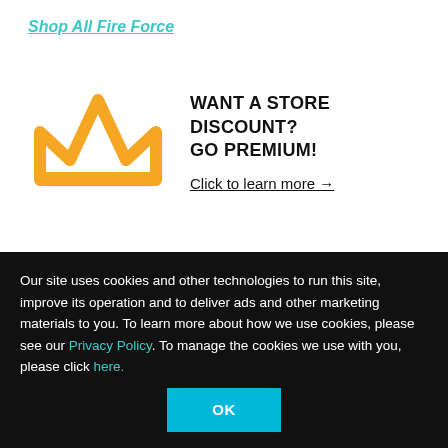Shop All Fire Force
[Figure (illustration): Orange crown icon with promo text: WANT A STORE DISCOUNT? GO PREMIUM! Click to learn more →]
Description
A crisis plagues the world: Spontaneous Human Combustion. The only ones trained to stop these blazing mortal infernos are the brave members of the Fire Force. Shinra is determined to become the greatest hero, but his past leads him to a different destiny.
Our site uses cookies and other technologies to run this site, improve its operation and to deliver ads and other marketing materials to you. To learn more about how we use cookies, please see our Privacy Policy. To manage the cookies we use with you, please click here.